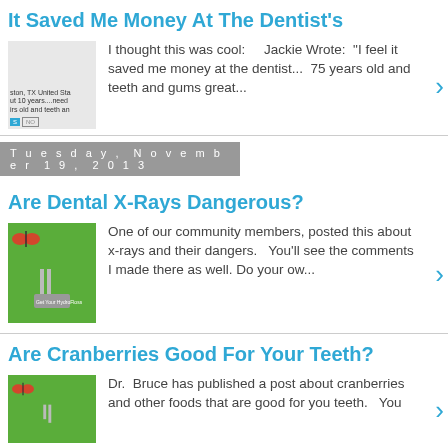It Saved Me Money At The Dentist's
[Figure (screenshot): Thumbnail screenshot showing partial text about Houston TX and teeth]
I thought this was cool:    Jackie Wrote:  "I feel it saved me money at the dentist...  75 years old and teeth and gums great...
Tuesday, November 19, 2013
Are Dental X-Rays Dangerous?
[Figure (illustration): Green background image with butterfly and dental equipment]
One of our community members, posted this about x-rays and their dangers.   You'll see the comments I made there as well. Do your ow...
Are Cranberries Good For Your Teeth?
[Figure (illustration): Green background image with butterfly and dental equipment]
Dr.  Bruce has published a post about cranberries and other foods that are good for you teeth.   You